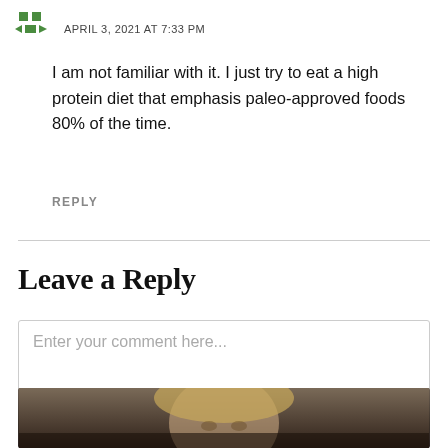APRIL 3, 2021 AT 7:33 PM
I am not familiar with it. I just try to eat a high protein diet that emphasis paleo-approved foods 80% of the time.
REPLY
Leave a Reply
Enter your comment here...
[Figure (photo): Bottom strip showing a partial photo of a person with blonde hair]